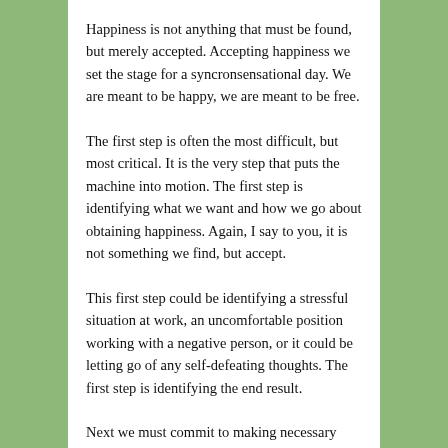Happiness is not anything that must be found, but merely accepted. Accepting happiness we set the stage for a syncronsensational day. We are meant to be happy, we are meant to be free.
The first step is often the most difficult, but most critical. It is the very step that puts the machine into motion. The first step is identifying what we want and how we go about obtaining happiness. Again, I say to you, it is not something we find, but accept.
This first step could be identifying a stressful situation at work, an uncomfortable position working with a negative person, or it could be letting go of any self-defeating thoughts. The first step is identifying the end result.
Next we must commit to making necessary changes in our lives, allowing action to take over. By applying our dreams to our reality, they become our new reality. Making a commitment requires changing your mind on a set belief system and applying a new set of beliefs. Are there